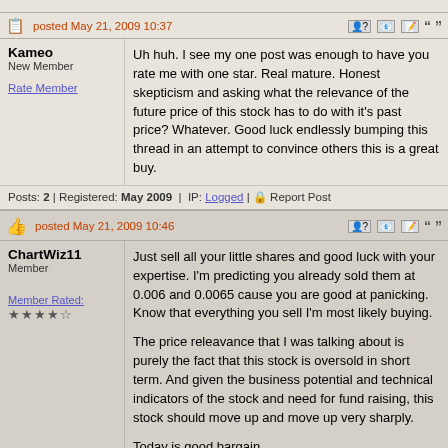Kameo
New Member
Rate Member
posted May 21, 2009 10:37
Uh huh. I see my one post was enough to have you rate me with one star. Real mature. Honest skepticism and asking what the relevance of the future price of this stock has to do with it's past price? Whatever. Good luck endlessly bumping this thread in an attempt to convince others this is a great buy.
Posts: 2 | Registered: May 2009 | IP: Logged | Report Post
ChartWiz11
Member
Member Rated:
★★★★☆
posted May 21, 2009 10:46
Just sell all your little shares and good luck with your expertise. I'm predicting you already sold them at 0.006 and 0.0065 cause you are good at panicking. Know that everything you sell I'm most likely buying.

The price releavance that I was talking about is purely the fact that this stock is oversold in short term. And given the business potential and technical indicators of the stock and need for fund raising, this stock should move up and move up very sharply.

Today is good bargain.

---------------------
Rely on Charts not luck.